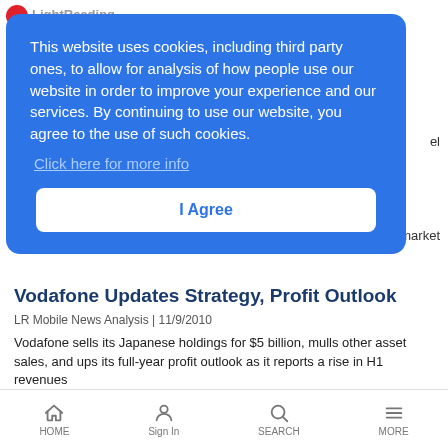[Figure (logo): Light Reading logo with red circle and gray text]
This website uses cookies, including third party ones, to allow for analysis of how people use our website in order to improve your experience and our services. By continuing to use our website, you agree to the use of such cookies.
Click here for more info
I Agree
Vodafone Updates Strategy, Profit Outlook
LR Mobile News Analysis | 11/9/2010
Vodafone sells its Japanese holdings for $5 billion, mulls other asset sales, and ups its full-year profit outlook as it reports a rise in H1 revenues
HOME  Sign In  SEARCH  MORE